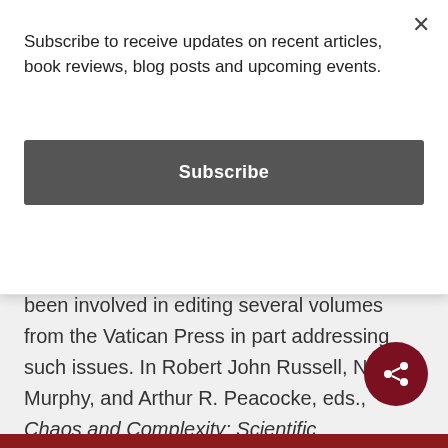Subscribe to receive updates on recent articles, book reviews, blog posts and upcoming events.
Subscribe
been involved in editing several volumes from the Vatican Press in part addressing such issues. In Robert John Russell, Nancey Murphy, and Arthur R. Peacocke, eds., Chaos and Complexity: Scientific Perspectives on Divine Action (Vatican City State: Vatican Observatory Publications, 2000), 325, Murphy suggests that openness only occurs in the quantum